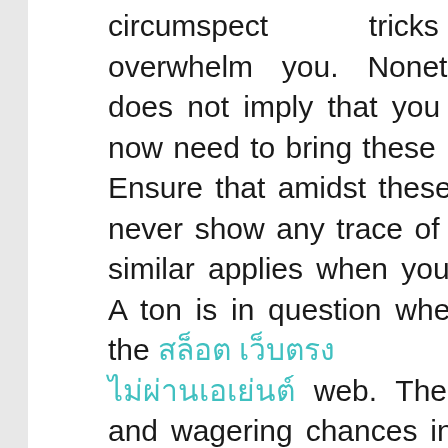circumspect tricks would overwhelm you. Nonetheless, this does not imply that you would as of now need to bring these hands down. Ensure that amidst these issues, you never show any trace of questions. A similar applies when you are betting. A ton is in question when betting on the สล็อตเว็บตรงไม่ผ่านเอเย่นต์ web. There are cash and wagering chances in question. It is no big surprise why there are a ton of frightful individuals who might trust that the right second will trick you. Utilize the accompanying tips to assist you with getting started.
Banking decisions that players have